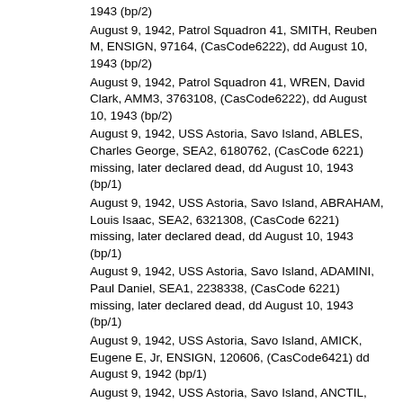1943 (bp/2)
August 9, 1942, Patrol Squadron 41, SMITH, Reuben M, ENSIGN, 97164, (CasCode6222), dd August 10, 1943 (bp/2)
August 9, 1942, Patrol Squadron 41, WREN, David Clark, AMM3, 3763108, (CasCode6222), dd August 10, 1943 (bp/2)
August 9, 1942, USS Astoria, Savo Island, ABLES, Charles George, SEA2, 6180762, (CasCode 6221) missing, later declared dead, dd August 10, 1943 (bp/1)
August 9, 1942, USS Astoria, Savo Island, ABRAHAM, Louis Isaac, SEA2, 6321308, (CasCode 6221) missing, later declared dead, dd August 10, 1943 (bp/1)
August 9, 1942, USS Astoria, Savo Island, ADAMINI, Paul Daniel, SEA1, 2238338, (CasCode 6221) missing, later declared dead, dd August 10, 1943 (bp/1)
August 9, 1942, USS Astoria, Savo Island, AMICK, Eugene E, Jr, ENSIGN, 120606, (CasCode6421) dd August 9, 1942 (bp/1)
August 9, 1942, USS Astoria, Savo Island, ANCTIL, Paul Emile, SEA2, 3826648, (CasCode 6221) missing, later declared dead, dd August 10, 1943 (bp/1)
August 9, 1942, USS Astoria, Savo Island, ANDERSON, Edwin Lavaughn, F3, 3423679, (CasCode 6221) missing, later declared dead, dd August 10, 1943 (bp/1)
August 9, 1942, USS Astoria, Savo Island, ANDERSON, Francis Eugene, SEA1, 3625819, (CasCode 6221) missing, later declared dead, dd August 10, 1943 (bp/1)
August 9, 1942, USS Astoria, Savo Island, ANDRES, Eric T, ENSIGN, 120608, (CasCode6421) dd August 9,